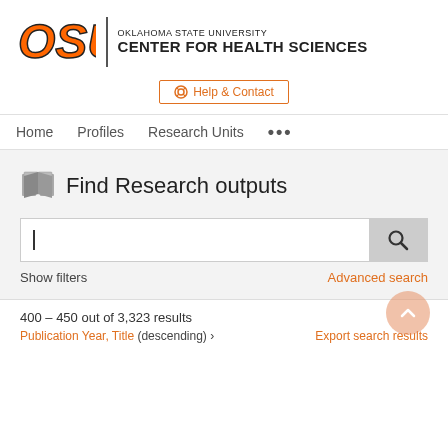[Figure (logo): OSU (Oklahoma State University) logo in orange with stylized letters, accompanied by text 'OKLAHOMA STATE UNIVERSITY CENTER FOR HEALTH SCIENCES']
Help & Contact
Home   Profiles   Research Units   ...
Find Research outputs
Show filters
Advanced search
400 – 450 out of 3,323 results
Publication Year, Title (descending) ›
Export search results